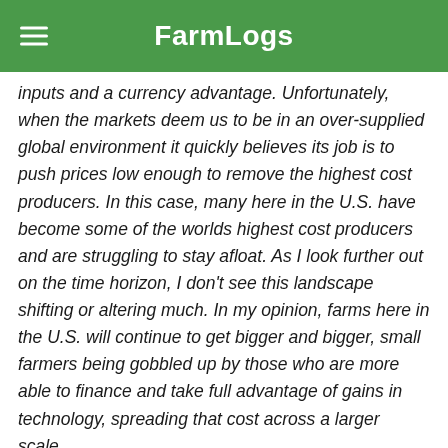FarmLogs
inputs and a currency advantage. Unfortunately, when the markets deem us to be in an over-supplied global environment it quickly believes its job is to push prices low enough to remove the highest cost producers. In this case, many here in the U.S. have become some of the worlds highest cost producers and are struggling to stay afloat. As I look further out on the time horizon, I don't see this landscape shifting or altering much. In my opinion, farms here in the U.S. will continue to get bigger and bigger, small farmers being gobbled up by those who are more able to finance and take full advantage of gains in technology, spreading that cost across a larger scale.
What changed from the landscape that...